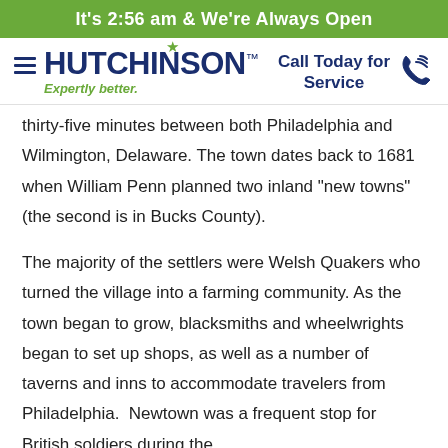It's 2:56 am & We're Always Open
[Figure (logo): Hutchinson logo with hamburger menu lines, star icon, and tagline 'Expertly better.']
Call Today for Service
thirty-five minutes between both Philadelphia and Wilmington, Delaware. The town dates back to 1681 when William Penn planned two inland “new towns” (the second is in Bucks County).
The majority of the settlers were Welsh Quakers who turned the village into a farming community. As the town began to grow, blacksmiths and wheelwrights began to set up shops, as well as a number of taverns and inns to accommodate travelers from Philadelphia.  Newtown was a frequent stop for British soldiers during the